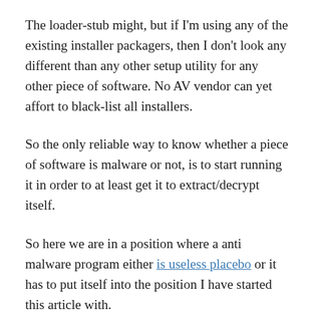The loader-stub might, but if I'm using any of the existing installer packagers, then I don't look any different than any other setup utility for any other piece of software. No AV vendor can yet affort to black-list all installers.
So the only reliable way to know whether a piece of software is malware or not, is to start running it in order to at least get it to extract/decrypt itself.
So here we are in a position where a anti malware program either is useless placebo or it has to put itself into the position I have started this article with.